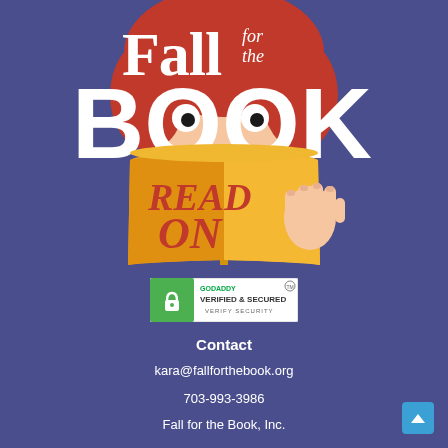[Figure (illustration): Illustration of a cartoon character with red hair peeking over a large golden/orange open book that reads 'READ ON' in bold red letters. Above the book, the text 'Fall for the BOOK' is displayed in white serif font against a blue-purple background.]
[Figure (logo): GoDaddy Verified & Secured badge with a green background, lock icon, and text reading 'GODADDY VERIFIED & SECURED VERIFY SECURITY']
Contact
kara@fallforthebook.org
703-993-3986
Fall for the Book, Inc.